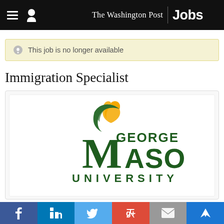The Washington Post | Jobs
This job is no longer available
Immigration Specialist
[Figure (logo): George Mason University logo — green stylized torch/flame with gold flame tip above the text 'George Mason University' in dark green.]
Social sharing bar: Facebook, LinkedIn, Twitter, Google+, Email, Bookmark